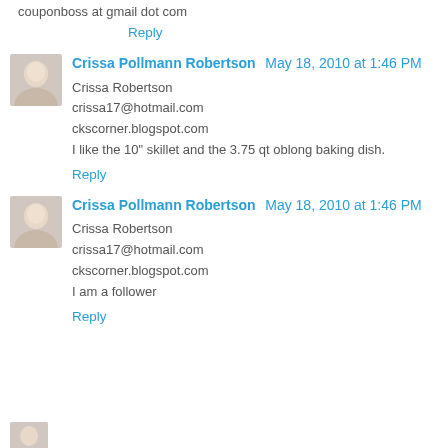couponboss at gmail dot com
Reply
Crissa Pollmann Robertson  May 18, 2010 at 1:46 PM
Crissa Robertson
crissa17@hotmail.com
ckscorner.blogspot.com
I like the 10" skillet and the 3.75 qt oblong baking dish.
Reply
Crissa Pollmann Robertson  May 18, 2010 at 1:46 PM
Crissa Robertson
crissa17@hotmail.com
ckscorner.blogspot.com
I am a follower
Reply